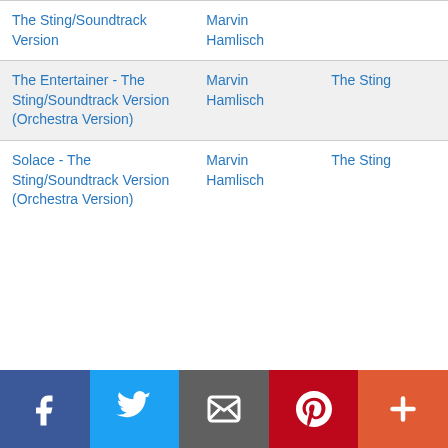| Song | Artist | Album |
| --- | --- | --- |
| The Sting/Soundtrack Version | Marvin Hamlisch |  |
| The Entertainer - The Sting/Soundtrack Version (Orchestra Version) | Marvin Hamlisch | The Sting |
| Solace - The Sting/Soundtrack Version (Orchestra Version) | Marvin Hamlisch | The Sting |
[Figure (infographic): Social sharing bar with Facebook, Twitter, Email, Pinterest, and More buttons]